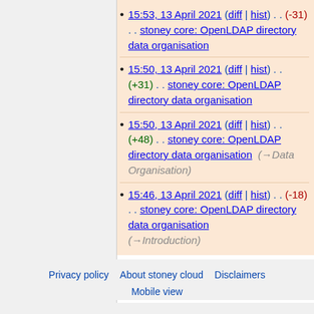15:53, 13 April 2021 (diff | hist) . . (-31) . . stoney core: OpenLDAP directory data organisation
15:50, 13 April 2021 (diff | hist) . . (+31) . . stoney core: OpenLDAP directory data organisation
15:50, 13 April 2021 (diff | hist) . . (+48) . . stoney core: OpenLDAP directory data organisation (→Data Organisation)
15:46, 13 April 2021 (diff | hist) . . (-18) . . stoney core: OpenLDAP directory data organisation (→Introduction)
(newest | oldest) View (newer 100 | older 100) (20 | 50 | 100 | 250 | 500)
Privacy policy   About stoney cloud   Disclaimers   Mobile view